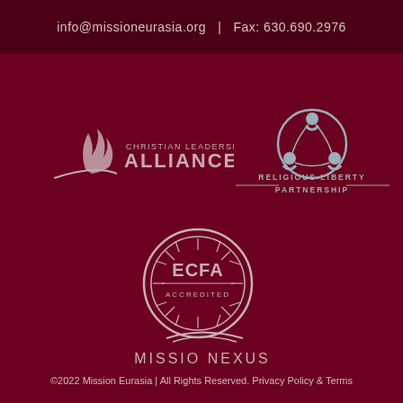info@missioneurasia.org  |  Fax: 630.690.2976
[Figure (logo): Christian Leadership Alliance logo with flame icon and text 'CHRISTIAN LEADERSHIP ALLIANCE']
[Figure (logo): Religious Liberty Partnership logo with circular figures icon and text 'RELIGIOUS LIBERTY PARTNERSHIP']
[Figure (logo): ECFA Accredited circular seal logo with sunburst and text 'ECFA ACCREDITED']
[Figure (logo): Missio Nexus logo with swoosh and text 'MISSIO NEXUS']
©2022 Mission Eurasia | All Rights Reserved. Privacy Policy & Terms